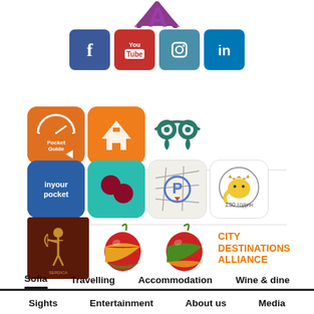[Figure (logo): Purple stylized letter A logo at top center]
[Figure (infographic): Social media icons row: Facebook (blue), YouTube (red), Instagram (teal-blue), LinkedIn (blue)]
[Figure (infographic): Row of app/partner logos: Pocket Guide (orange), another orange app icon, two teal location pin icons]
[Figure (infographic): Row of app/partner logos: inyourpocket (blue), teal app icon with dots, parking map icon, yellow elephant icon (130 years)]
[Figure (infographic): Partners row: dark red logo with archer figure, two apple/fruit logos, City Destinations Alliance orange text logo]
Sofia
Travelling
Accommodation
Wine & dine
Sights
Entertainment
About us
Media